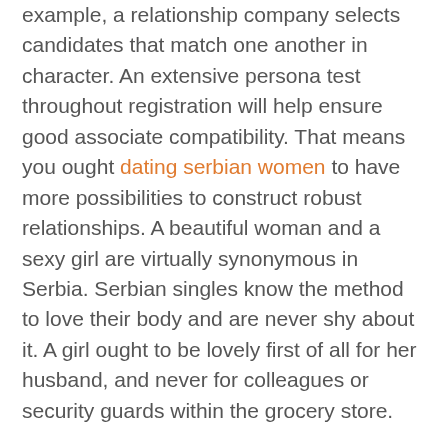example, a relationship company selects candidates that match one another in character. An extensive persona test throughout registration will help ensure good associate compatibility. That means you ought dating serbian women to have more possibilities to construct robust relationships. A beautiful woman and a sexy girl are virtually synonymous in Serbia. Serbian singles know the method to love their body and are never shy about it. A girl ought to be lovely first of all for her husband, and never for colleagues or security guards within the grocery store.
In order to start courting a Serbian lady and meet your love, you need to learn a couple of simple issues. Thanks to their Slavic roots, Serbian girls don't like insincerity very a lot,